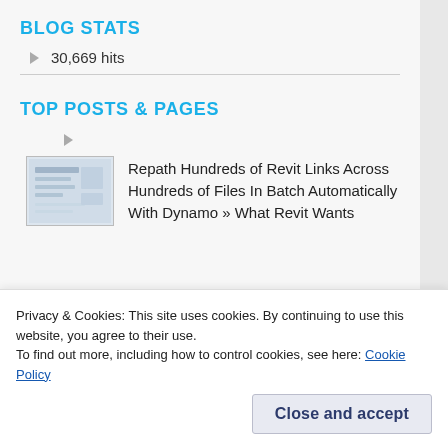BLOG STATS
30,669 hits
TOP POSTS & PAGES
Repath Hundreds of Revit Links Across Hundreds of Files In Batch Automatically With Dynamo » What Revit Wants
Privacy & Cookies: This site uses cookies. By continuing to use this website, you agree to their use.
To find out more, including how to control cookies, see here: Cookie Policy
Close and accept